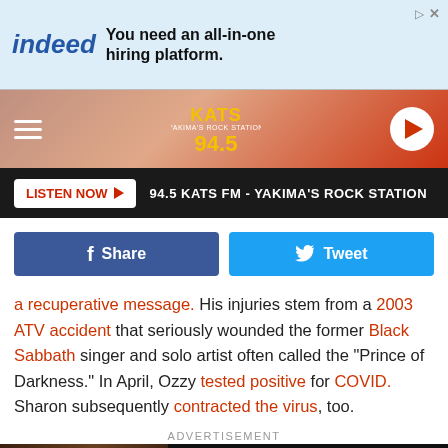[Figure (screenshot): Indeed advertisement banner: 'You need an all-in-one hiring platform.']
[Figure (logo): KATS 94.5 FM radio station navigation bar with hamburger menu and play button]
[Figure (screenshot): Listen Now button bar: '94.5 KATS FM - YAKIMA'S ROCK STATION']
[Figure (screenshot): Facebook Share and Twitter Tweet social sharing buttons]
a recuperative message. His injuries stem from a 2003 ATV accident that seriously wounded the former Black Sabbath singer and solo artist often called the "Prince of Darkness." In April, Ozzy tested positive for COVID. Sharon subsequently contracted the virus, too.
ADVERTISEMENT
[Figure (screenshot): Beast movie advertisement: Idris Elba, 'Only in theaters Friday, Get Tickets']